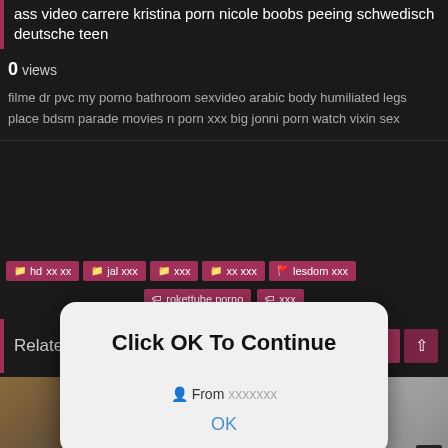ass video carrere kristina porn nicole boobs peeing schwedisch deutsche teen
0 views
filme dr pvc my porno bathroom sexvideo arabic body humiliated legs place bdsm parade movies n porn xxx big jonni porn watch vixin sex
[Figure (screenshot): Modal popup dialog with text 'Click OK To Continue', showing 'From' field and an 'OK' button in blue text]
hd xxx xx  | jal xxx | xxx | xx xxx | kesdom xxx
rokettube porno | xxx
Related videos
[Figure (screenshot): Two video thumbnails side by side, both labeled HD]